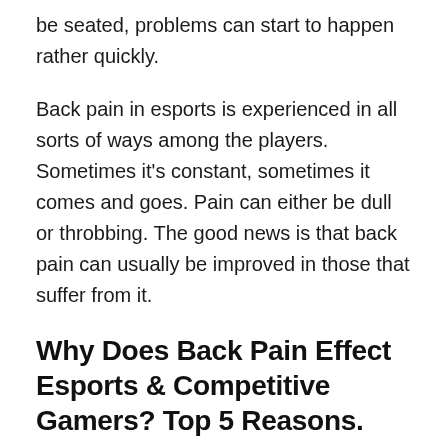be seated, problems can start to happen rather quickly.
Back pain in esports is experienced in all sorts of ways among the players. Sometimes it's constant, sometimes it comes and goes. Pain can either be dull or throbbing. The good news is that back pain can usually be improved in those that suffer from it.
Why Does Back Pain Effect Esports & Competitive Gamers? Top 5 Reasons.
Posture is usually the first culprit. I do want to point out, however, that while proper posture can certainly help, it does not negate the negative effects associated with sitting.